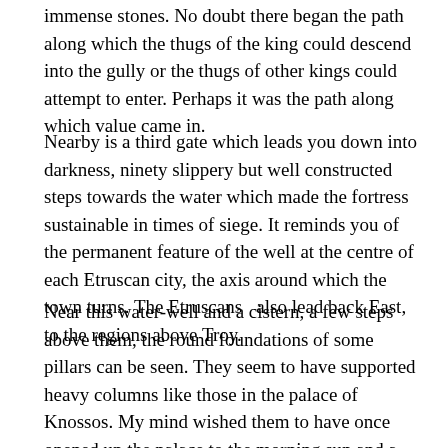immense stones. No doubt there began the path along which the thugs of the king could descend into the gully or the thugs of other kings could attempt to enter. Perhaps it was the path along which value came in.
Nearby is a third gate which leads you down into darkness, ninety slippery but well constructed steps towards the water which made the fortress sustainable in times of siege. It reminds you of the permanent feature of the well at the centre of each Etruscan city, the axis around which the town turns. The Etruscans  also lead back East, to the regions above Troy.
Near this water-well and a cistern, a few steps above them, the round foundations of some pillars can be seen. They seem to have supported heavy columns like those in the palace of Knossos. My mind wished them to have once opened up the palace to the morning sun and a view of the sea. After all, Crete with its red pillars was not that far away. Surely a civilized way of life could have come from this radiant island.